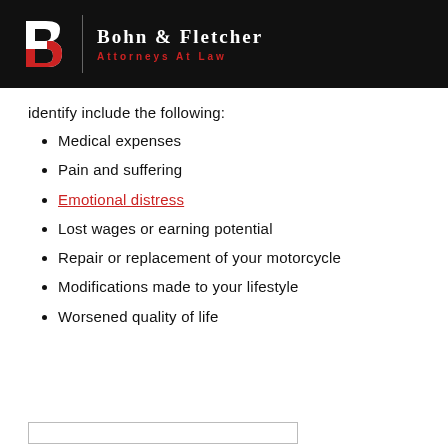Bohn & Fletcher Attorneys at Law
identify include the following:
Medical expenses
Pain and suffering
Emotional distress
Lost wages or earning potential
Repair or replacement of your motorcycle
Modifications made to your lifestyle
Worsened quality of life